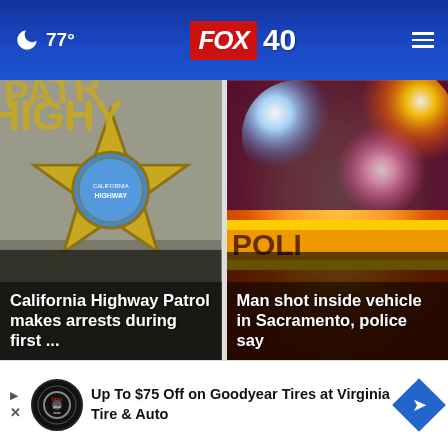🌙 77° | FOX 40
[Figure (photo): California Highway Patrol badge close-up with text overlay: 'California Highway Patrol makes arrests during first ...']
[Figure (photo): Police emergency lights (blue, red, orange) with crime scene tape and text overlay: 'Man shot inside vehicle in Sacramento, police say']
Top Stories ›
[Figure (infographic): Advertisement banner: 'Up To $75 Off on Goodyear Tires at Virginia Tire & Auto' with Tires Plus logo and navigation arrow icon]